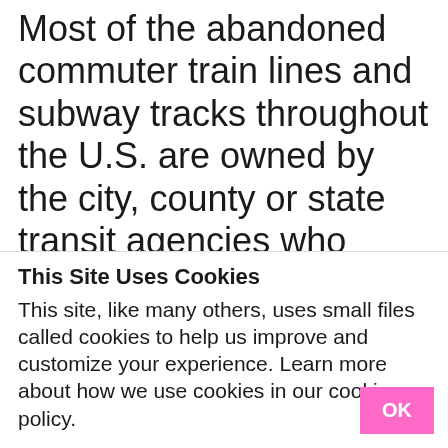Most of the abandoned commuter train lines and subway tracks throughout the U.S. are owned by the city, county or state transit agencies who administer the trains and subways, while most of the abandoned freight lines are owned by the railroad companies. When the administrators within a transit agency or
This Site Uses Cookies
This site, like many others, uses small files called cookies to help us improve and customize your experience. Learn more about how we use cookies in our cookie policy.